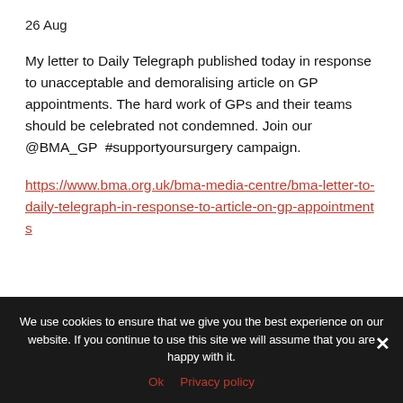26 Aug
My letter to Daily Telegraph published today in response to unacceptable and demoralising article on GP appointments. The hard work of GPs and their teams should be celebrated not condemned. Join our @BMA_GP  #supportyoursurgery campaign.
https://www.bma.org.uk/bma-media-centre/bma-letter-to-daily-telegraph-in-response-to-article-on-gp-appointments
We use cookies to ensure that we give you the best experience on our website. If you continue to use this site we will assume that you are happy with it.
Ok   Privacy policy